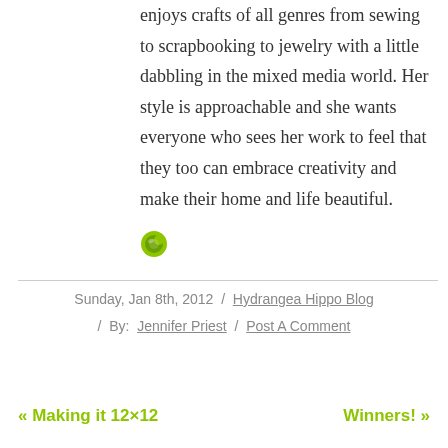enjoys crafts of all genres from sewing to scrapbooking to jewelry with a little dabbling in the mixed media world. Her style is approachable and she wants everyone who sees her work to feel that they too can embrace creativity and make their home and life beautiful.
[Figure (logo): Small green circular icon/logo]
Sunday, Jan 8th, 2012  /  Hydrangea Hippo Blog  /  By: Jennifer Priest  /  Post A Comment
« Making it 12×12    Winners! »